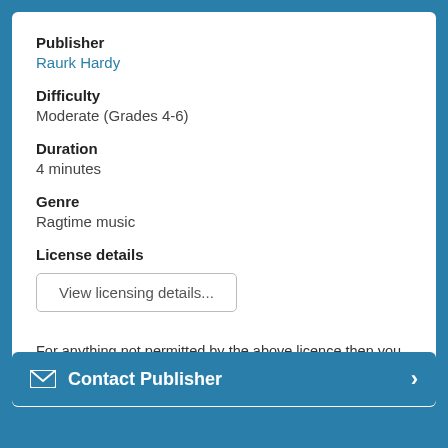Publisher
Raurk Hardy
Difficulty
Moderate (Grades 4-6)
Duration
4 minutes
Genre
Ragtime music
License details
View licensing details...
For anything not permitted by the above licence then you should contact the publisher first to obtain permission.
Contact Publisher